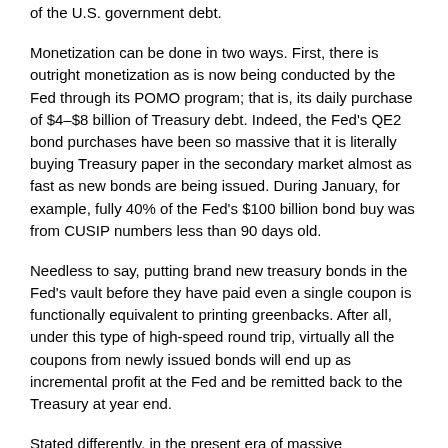of the U.S. government debt.
Monetization can be done in two ways. First, there is outright monetization as is now being conducted by the Fed through its POMO program; that is, its daily purchase of $4–$8 billion of Treasury debt. Indeed, the Fed's QE2 bond purchases have been so massive that it is literally buying Treasury paper in the secondary market almost as fast as new bonds are being issued. During January, for example, fully 40% of the Fed's $100 billion bond buy was from CUSIP numbers less than 90 days old.
Needless to say, putting brand new treasury bonds in the Fed's vault before they have paid even a single coupon is functionally equivalent to printing greenbacks. After all, under this type of high-speed round trip, virtually all the coupons from newly issued bonds will end up as incremental profit at the Fed and be remitted back to the Treasury at year end.
Stated differently, in the present era of massive